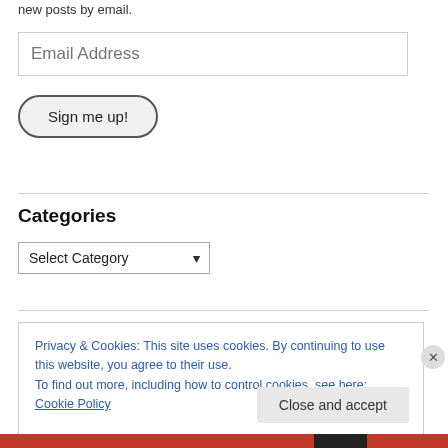new posts by email.
Email Address
Sign me up!
Categories
Select Category
Privacy & Cookies: This site uses cookies. By continuing to use this website, you agree to their use.
To find out more, including how to control cookies, see here: Cookie Policy
Close and accept